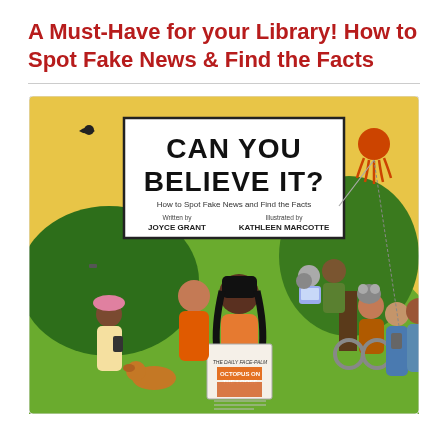A Must-Have for your Library! How to Spot Fake News & Find the Facts
[Figure (illustration): Book cover of 'Can You Believe It? How to Spot Fake News and Find the Facts' written by Joyce Grant and illustrated by Kathleen Marcotte. Shows diverse children and adults in a park setting reading newspapers, tablets, and phones. A woman in the foreground holds a newspaper with headline 'Octopus on the Loose'.]